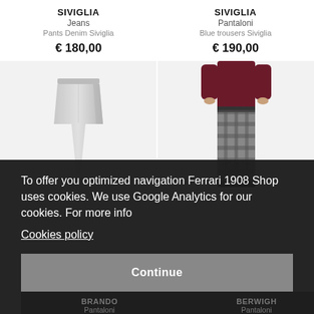SIVIGLIA
Jeans
Pants Denim Siviglia
€ 180,00
SIVIGLIA
Pantaloni
Blue trousers Siviglia
€ 190,00
[Figure (photo): Light grey slim trousers/pants product photo on white/light background]
[Figure (photo): Man wearing dark checked trousers with burgundy sweater, partial body shot]
To offer you optimized navigation Ferrari 1908 Shop uses cookies. We use Google Analytics for our cookies. For more info
Cookies policy
Continue
BRANDO
Pantaloni
Grey trousers Brando
BERWIGH
Pantaloni
SC REG Coul grey Berwich